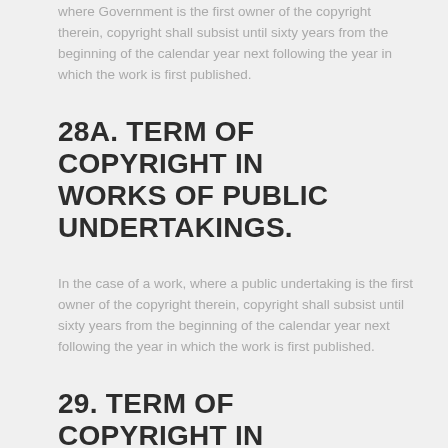where Government is the first owner of the copyright therein, copyright shall subsist until sixty years from the beginning of the calendar year next following the year in which the work is first published.
28A. TERM OF COPYRIGHT IN WORKS OF PUBLIC UNDERTAKINGS.
In the case of a work, where a public undertaking is the first owner of the copyright therein, copyright shall subsist until sixty years from the beginning of the calendar year next following the year in which the work is first published.
29. TERM OF COPYRIGHT IN WORKS OF INTERNATIONAL